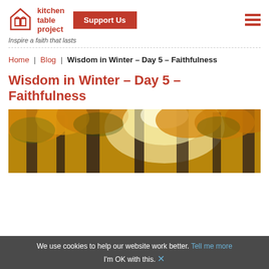kitchen table project — Inspire a faith that lasts — Support Us
Home | Blog | Wisdom in Winter – Day 5 – Faithfulness
Wisdom in Winter – Day 5 – Faithfulness
[Figure (photo): Autumn forest scene with golden leaves and sunlight filtering through tall trees]
We use cookies to help our website work better. Tell me more
I'm OK with this.